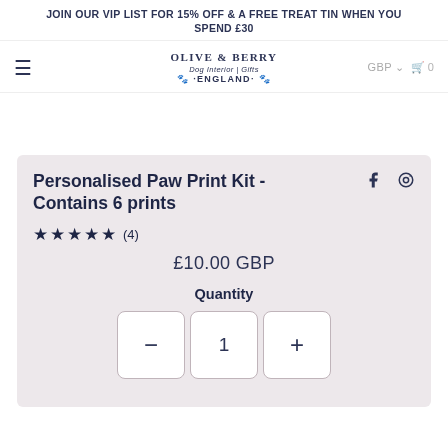JOIN OUR VIP LIST FOR 15% OFF & A FREE TREAT TIN WHEN YOU SPEND £30
[Figure (logo): Olive & Berry Dog Interior Gifts England logo with paw prints]
Personalised Paw Print Kit - Contains 6 prints
★★★★★ (4)
£10.00 GBP
Quantity
- 1 +